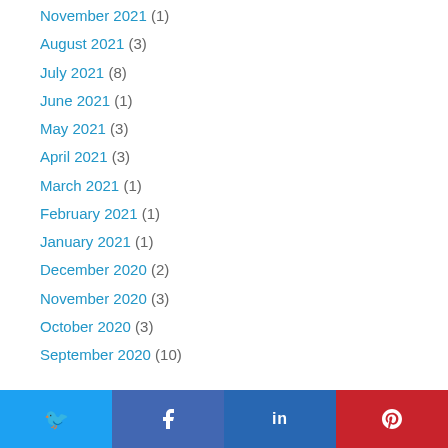November 2021 (1)
August 2021 (3)
July 2021 (8)
June 2021 (1)
May 2021 (3)
April 2021 (3)
March 2021 (1)
February 2021 (1)
January 2021 (1)
December 2020 (2)
November 2020 (3)
October 2020 (3)
September 2020 (10)